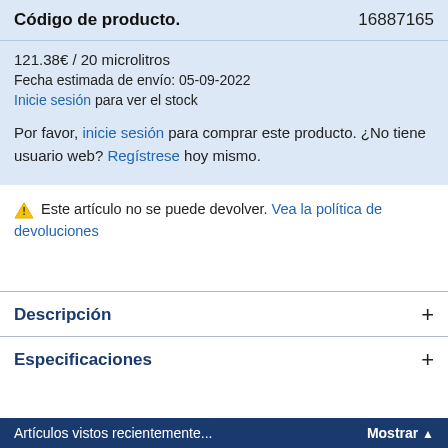Código de producto.          16887165
121.38€ / 20 microlitros
Fecha estimada de envío: 05-09-2022
Inicie sesión para ver el stock

Por favor, inicie sesión para comprar este producto. ¿No tiene usuario web? Regístrese hoy mismo.
⚠ Este artículo no se puede devolver. Vea la política de devoluciones
Descripción
Especificaciones
Artículos vistos recientemente...    Mostrar ▲